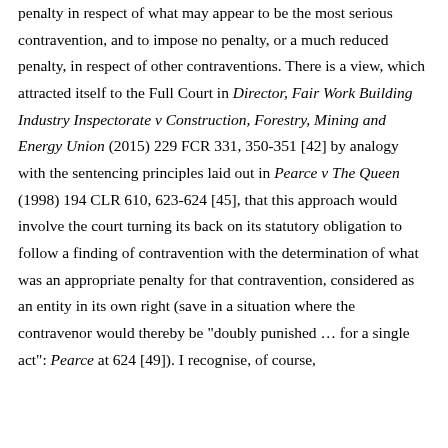penalty in respect of what may appear to be the most serious contravention, and to impose no penalty, or a much reduced penalty, in respect of other contraventions. There is a view, which attracted itself to the Full Court in Director, Fair Work Building Industry Inspectorate v Construction, Forestry, Mining and Energy Union (2015) 229 FCR 331, 350-351 [42] by analogy with the sentencing principles laid out in Pearce v The Queen (1998) 194 CLR 610, 623-624 [45], that this approach would involve the court turning its back on its statutory obligation to follow a finding of contravention with the determination of what was an appropriate penalty for that contravention, considered as an entity in its own right (save in a situation where the contravenor would thereby be "doubly punished … for a single act": Pearce at 624 [49]). I recognise, of course,